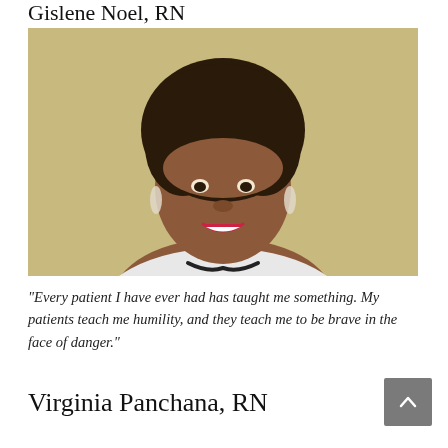Gislene Noel, RN
[Figure (photo): Portrait photo of Gislene Noel, RN — a smiling woman with natural curly dark hair, wearing a white coat with a stethoscope, against a warm beige/gold background.]
“Every patient I have ever had has taught me something. My patients teach me humility, and they teach me to be brave in the face of danger.”
Virginia Panchana, RN